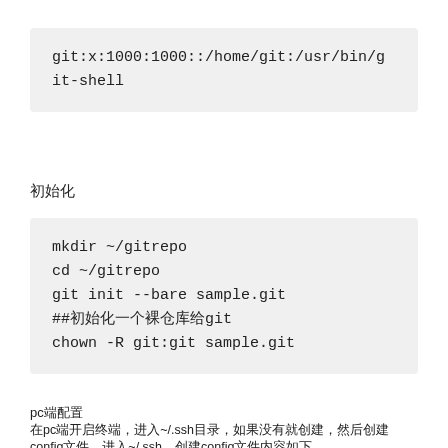git:x:1000:1000::/home/git:/usr/bin/git-shell
初始化
mkdir ~/gitrepo
cd ~/gitrepo
git init --bare sample.git
##初始化一个裸仓库给git
chown -R git:git sample.git
pc端配置
在pc端开启终端，进入~/.ssh目录，如果没有就创建，然后创建config文件，进入~/.ssh，创建config文件内容如下